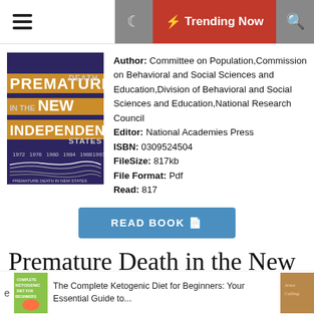Trending Now
[Figure (photo): Book cover of 'Premature Death in the New Independent States', dark purple with white and yellow text, showing data curves for years 1972-1993]
Author: Committee on Population,Commission on Behavioral and Social Sciences and Education,Division of Behavioral and Social Sciences and Education,National Research Council
Editor: National Academies Press
ISBN: 0309524504
FileSize: 817kb
File Format: Pdf
Read: 817
READ BOOK
Premature Death in the New Independent States by Committee on
The Complete Ketogenic Diet for Beginners: Your Essential Guide to...